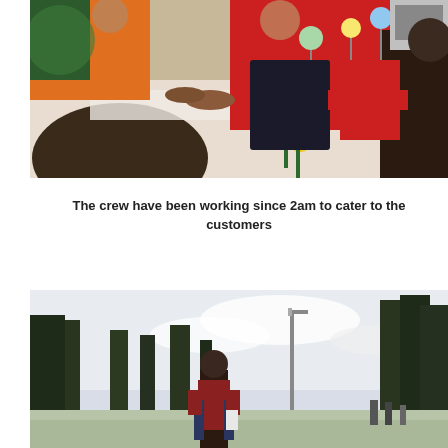[Figure (photo): Photo of restaurant crew members working at a counter/register, wearing red and orange uniforms, with decorative sunflowers and menu signs visible on the counter.]
The crew have been working since 2am to cater to the customers
[Figure (photo): Photo of a person standing outdoors in a park-like setting with trees in the background and a cloudy sky, taken from behind.]